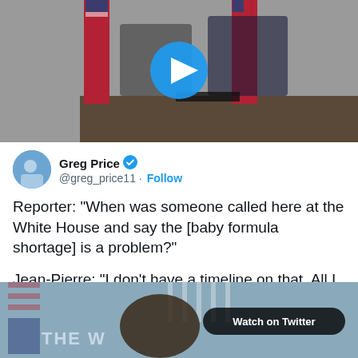[Figure (screenshot): Video thumbnail showing two people seated at a table with American flags, with a blue play button overlay]
Greg Price @greg_price11 · Follow
Reporter: "When was someone called here at the White House and say the [baby formula shortage] is a problem?"

Jean-Pierre: "I don't have a timeline on that. All I can tell you, as a whole of government approach, we have been working on this since February."
[Figure (screenshot): Video thumbnail showing a person at a White House podium, with 'Watch on Twitter' overlay button and 'THE W' text visible]